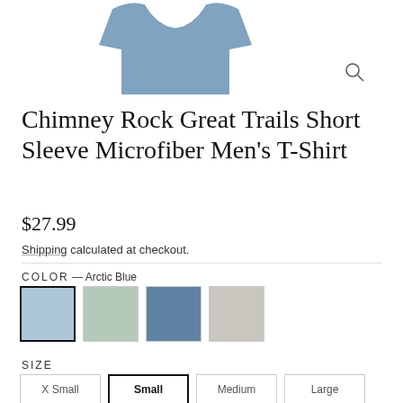[Figure (photo): Product photo of a blue microfiber men's t-shirt on white background]
Chimney Rock Great Trails Short Sleeve Microfiber Men's T-Shirt
$27.99
Shipping calculated at checkout.
COLOR — Arctic Blue
[Figure (photo): Four color swatches: Arctic Blue (selected), sage green, steel blue, light gray]
SIZE
X Small  Small  Medium  Large (size buttons, Small is selected)